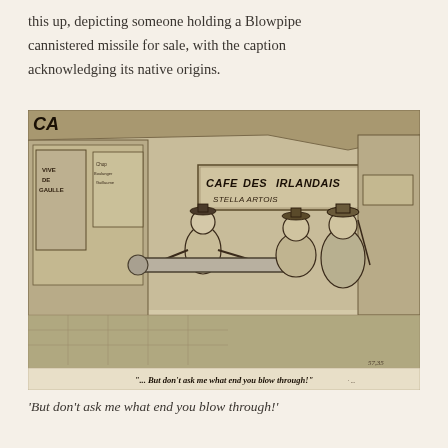this up, depicting someone holding a Blowpipe cannistered missile for sale, with the caption acknowledging its native origins.
[Figure (illustration): A black-and-white pen-and-ink cartoon/illustration showing a street market or café scene (Cafe des Irlandais, Stella Artois signage visible). A person is shown holding out a large Blowpipe missile cannister toward two other figures, one in military uniform standing on what appears to be a small vehicle or cart. Signs reading 'VIVE DE GAULLE' visible. Caption at bottom reads: '... But don't ask me what end you blow through!']
'But don't ask me what end you blow through!'